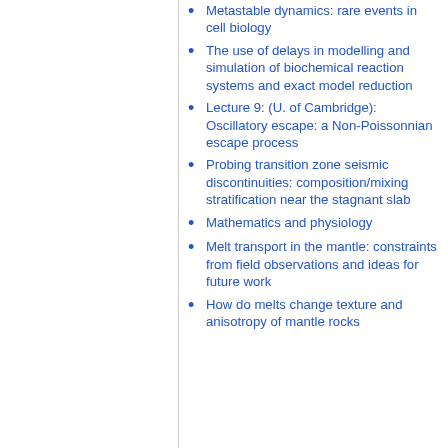Metastable dynamics: rare events in cell biology
The use of delays in modelling and simulation of biochemical reaction systems and exact model reduction
Lecture 9: (U. of Cambridge): Oscillatory escape: a Non-Poissonnian escape process
Probing transition zone seismic discontinuities: composition/mixing stratification near the stagnant slab
Mathematics and physiology
Melt transport in the mantle: constraints from field observations and ideas for future work
How do melts change texture and anisotropy of mantle rocks